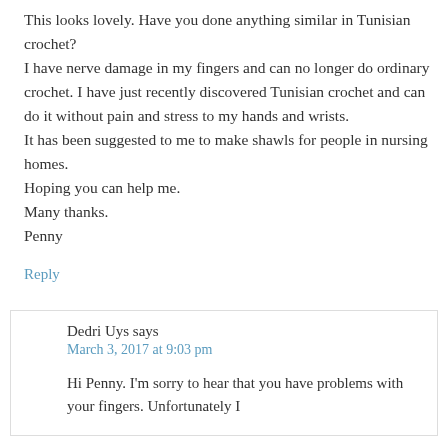This looks lovely. Have you done anything similar in Tunisian crochet?
I have nerve damage in my fingers and can no longer do ordinary crochet. I have just recently discovered Tunisian crochet and can do it without pain and stress to my hands and wrists.
It has been suggested to me to make shawls for people in nursing homes.
Hoping you can help me.
Many thanks.
Penny
Reply
Dedri Uys says
March 3, 2017 at 9:03 pm
Hi Penny. I'm sorry to hear that you have problems with your fingers. Unfortunately I